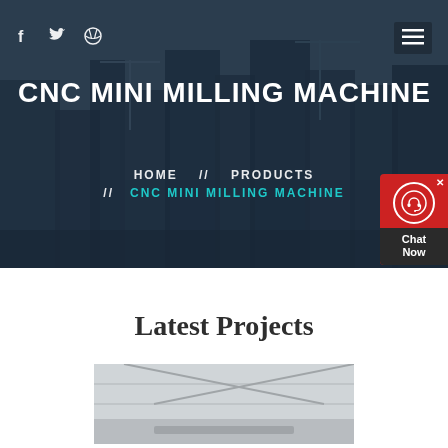[Figure (photo): Hero background: cityscape with construction cranes and tall buildings under a dark blue overlay]
f  [twitter icon]  [dribbble icon]  [hamburger menu icon]
CNC MINI MILLING MACHINE
HOME  //  PRODUCTS  //  CNC MINI MILLING MACHINE
[Figure (infographic): Red chat widget with headset icon, close button, and 'Chat Now' label on dark background]
Latest Projects
[Figure (photo): Partial photo strip of an industrial or construction facility interior]